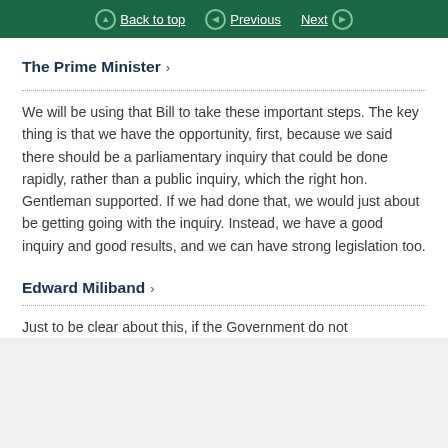Back to top | Previous | Next
The Prime Minister >
We will be using that Bill to take these important steps. The key thing is that we have the opportunity, first, because we said there should be a parliamentary inquiry that could be done rapidly, rather than a public inquiry, which the right hon. Gentleman supported. If we had done that, we would just about be getting going with the inquiry. Instead, we have a good inquiry and good results, and we can have strong legislation too.
Edward Miliband >
Just to be clear about this, if the Government do not